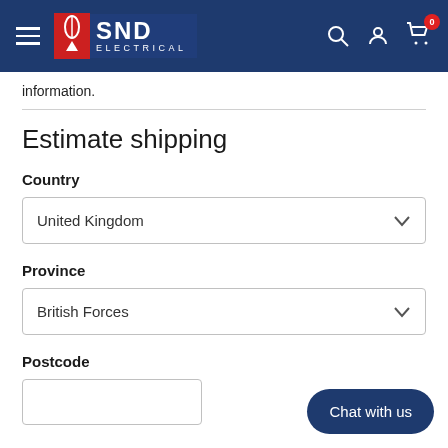SND ELECTRICAL
information.
Estimate shipping
Country
United Kingdom
Province
British Forces
Postcode
Chat with us